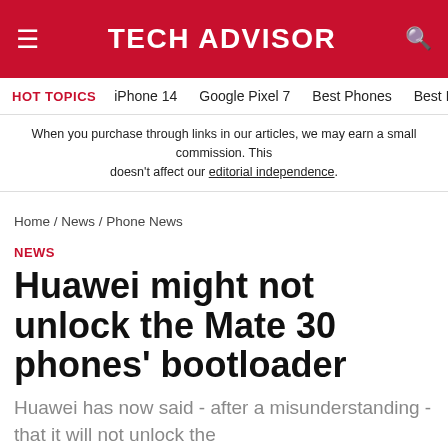TECH ADVISOR
HOT TOPICS  iPhone 14  Google Pixel 7  Best Phones  Best Lapt
When you purchase through links in our articles, we may earn a small commission. This doesn't affect our editorial independence.
Home / News / Phone News
NEWS
Huawei might not unlock the Mate 30 phones' bootloader
Huawei has now said - after a misunderstanding - that it will not unlock the